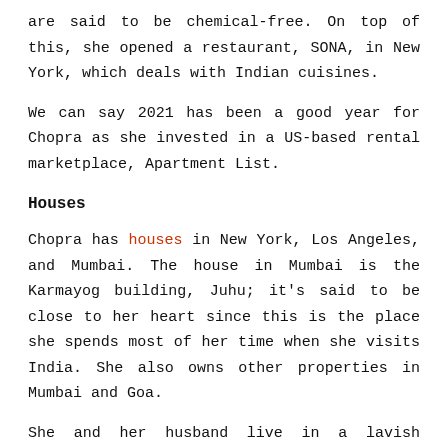are said to be chemical-free. On top of this, she opened a restaurant, SONA, in New York, which deals with Indian cuisines.
We can say 2021 has been a good year for Chopra as she invested in a US-based rental marketplace, Apartment List.
Houses
Chopra has houses in New York, Los Angeles, and Mumbai. The house in Mumbai is the Karmayog building, Juhu; it's said to be close to her heart since this is the place she spends most of her time when she visits India. She also owns other properties in Mumbai and Goa.
She and her husband live in a lavish mansion in Encino,